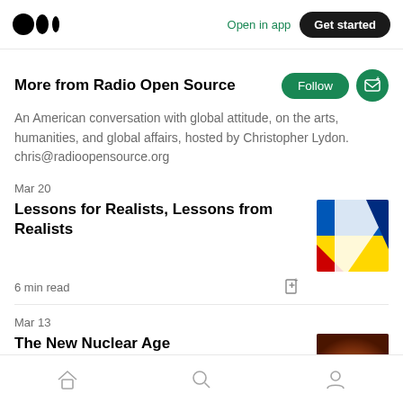Medium logo | Open in app | Get started
More from Radio Open Source
An American conversation with global attitude, on the arts, humanities, and global affairs, hosted by Christopher Lydon. chris@radioopensource.org
Mar 20
Lessons for Realists, Lessons from Realists
6 min read
Mar 13
The New Nuclear Age
Home | Search | Profile